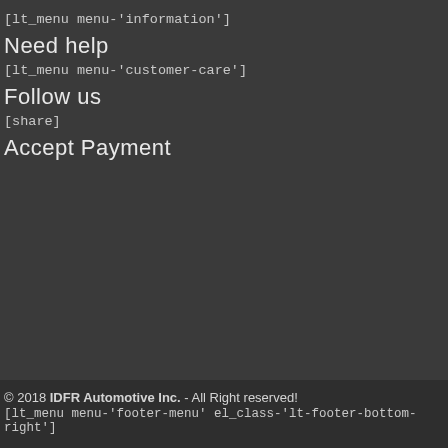[lt_menu menu-'information']
Need help
[lt_menu menu-'customer-care']
Follow us
[share]
Accept Payment
© 2018 IDFR Automotive Inc. - All Right reserved!
[lt_menu menu-'footer-menu' el_class-'lt-footer-bottom-right']